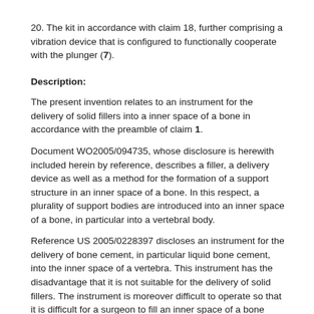20. The kit in accordance with claim 18, further comprising a vibration device that is configured to functionally cooperate with the plunger (7).
Description:
The present invention relates to an instrument for the delivery of solid fillers into a inner space of a bone in accordance with the preamble of claim 1.
Document WO2005/094735, whose disclosure is herewith included herein by reference, describes a filler, a delivery device as well as a method for the formation of a support structure in an inner space of a bone. In this respect, a plurality of support bodies are introduced into an inner space of a bone, in particular into a vertebral body.
Reference US 2005/0228397 discloses an instrument for the delivery of bone cement, in particular liquid bone cement, into the inner space of a vertebra. This instrument has the disadvantage that it is not suitable for the delivery of solid fillers. The instrument is moreover difficult to operate so that it is difficult for a surgeon to fill an inner space of a bone reliably and reproducibly.
It is the object of the present invention to propose an instrument for the delivery of solid fillers into an inner space of a bone, said instrument conditioning the la...